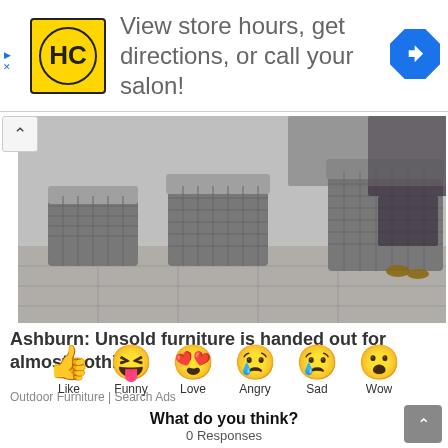[Figure (illustration): Advertisement banner with HC logo (yellow background, circular logo), text 'View store hours, get directions, or call your salon!' and a blue navigation arrow icon on the right]
[Figure (photo): Outdoor wicker/rattan furniture stools with grey cushions on a patio, with a person partially visible in the background]
Ashburn: Unsold furniture is handed out for almost nothing
Outdoor Furniture | Search Ads
What do you think?
0 Responses
[Figure (illustration): Row of six emoji reaction icons: Like (thumbs up), Funny (laughing face with tongue), Love (heart-eyes face), Angry (sad/crying face), Sad (tearful face), Wow (surprised face) with labels below each]